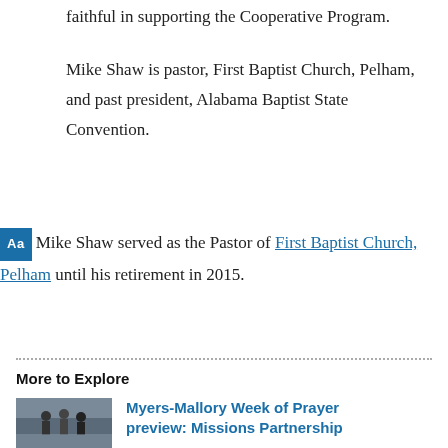faithful in supporting the Cooperative Program.
Mike Shaw is pastor, First Baptist Church, Pelham, and past president, Alabama Baptist State Convention.
Mike Shaw served as the Pastor of First Baptist Church, Pelham until his retirement in 2015.
More to Explore
Myers-Mallory Week of Prayer preview: Missions Partnership